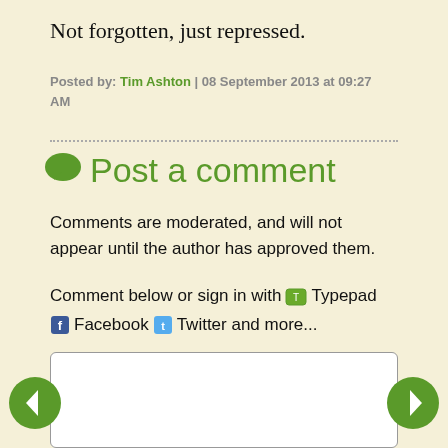Not forgotten, just repressed.
Posted by: Tim Ashton | 08 September 2013 at 09:27 AM
Post a comment
Comments are moderated, and will not appear until the author has approved them.
Comment below or sign in with Typepad Facebook Twitter and more...